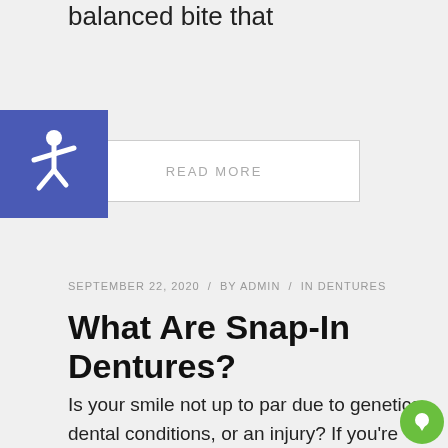balanced bite that
[Figure (illustration): Blue accessibility icon with wheelchair symbol]
READ MORE
SEPTEMBER 22, 2020 / BY ADMIN / IN DENTURES
What Are Snap-In Dentures?
Is your smile not up to par due to genetics, dental conditions, or an injury? If you're looking for the perfect option for replacement teeth, snap-in dentures